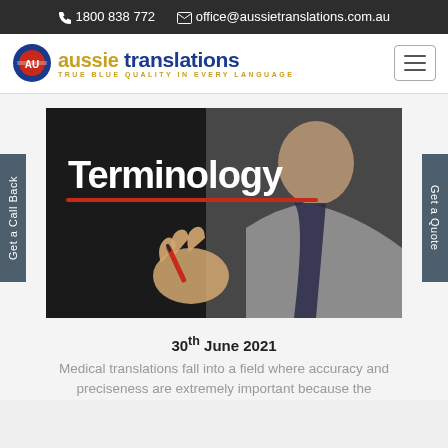☎ 1800 838 772  ✉ office@aussietranslations.com.au
[Figure (logo): Aussie Translations logo with Australian map icon and tagline 'True Blue Quality in Every Language']
[Figure (photo): Man in grey suit holding a red pen pointing at the word 'Terminology' in white bold text on a dark background with a red underline]
30th June 2021
Medical translations fall into a field where accuracy and preciseness are extremely important because the